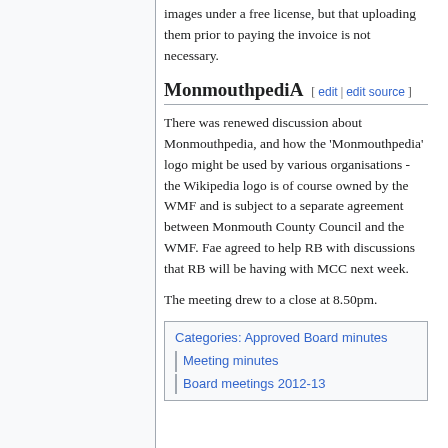images under a free license, but that uploading them prior to paying the invoice is not necessary.
MonmouthpediA [ edit | edit source ]
There was renewed discussion about Monmouthpedia, and how the 'Monmouthpedia' logo might be used by various organisations - the Wikipedia logo is of course owned by the WMF and is subject to a separate agreement between Monmouth County Council and the WMF. Fae agreed to help RB with discussions that RB will be having with MCC next week.
The meeting drew to a close at 8.50pm.
Categories: Approved Board minutes | Meeting minutes | Board meetings 2012-13